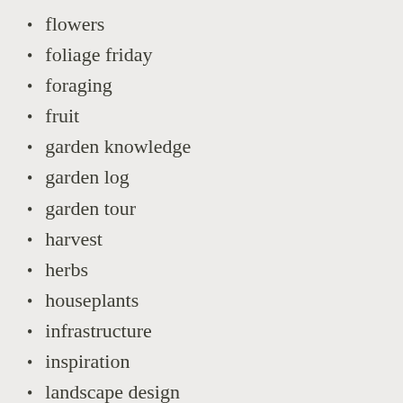flowers
foliage friday
foraging
fruit
garden knowledge
garden log
garden tour
harvest
herbs
houseplants
infrastructure
inspiration
landscape design
miscellaneous
pests
propagation